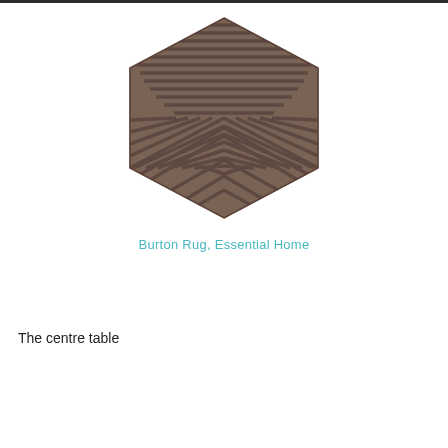[Figure (photo): Hexagonal rug with striped geometric pattern in three sections (top, bottom-left, bottom-right), each section having parallel stripes radiating from the center. The rug is brown/taupe colored.]
Burton Rug, Essential Home
The centre table